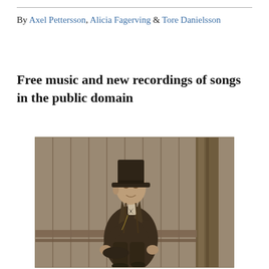By Axel Pettersson, Alicia Fagerving & Tore Danielsson
Free music and new recordings of songs in the public domain
[Figure (photo): Sepia-toned vintage photograph of a man seated outdoors, wearing a top hat and dark formal coat, with a wooden fence and tree in the background.]